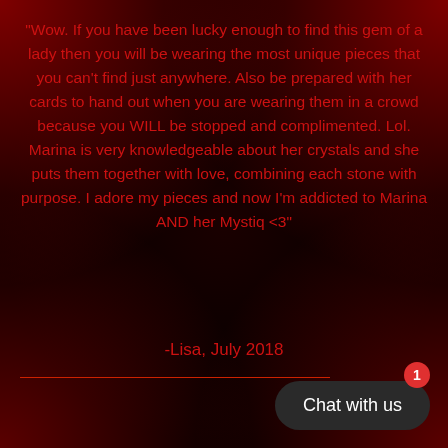"Wow. If you have been lucky enough to find this gem of a lady then you will be wearing the most unique pieces that you can't find just anywhere. Also be prepared with her cards to hand out when you are wearing them in a crowd because you WILL be stopped and complimented. Lol. Marina is very knowledgeable about her crystals and she puts them together with love, combining each stone with purpose. I adore my pieces and now I'm addicted to Marina AND her Mystiq <3"
-Lisa, July 2018
[Figure (other): Chat with us button with notification badge showing '1']